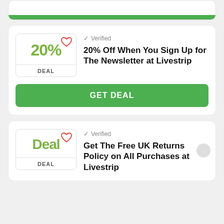[Figure (screenshot): Partial coupon/deal card at top with green button]
✓ Verified
20% Off When You Sign Up for The Newsletter at Livestrip
GET DEAL
✓ Verified
Get The Free UK Returns Policy on All Purchases at Livestrip